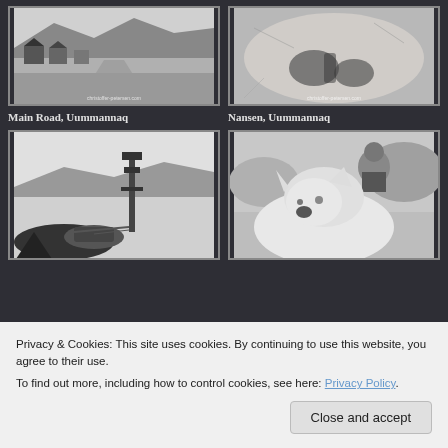[Figure (photo): Black and white photo of Main Road in Uummannaq, Greenland. Snowy village street with colorful houses and rocky hills in background. Watermark: christoffer-petersen.com]
Main Road, Uummannaq
[Figure (photo): Black and white close-up photo of a dog named Nansen in Uummannaq, Greenland. Close-up of dog paws/fur. Watermark: christoffer-petersen.com]
Nansen, Uummannaq
[Figure (photo): Black and white photo of a sled dog scene in a snowy landscape in Uummannaq. Dog sled equipment visible. Dark dogs in foreground.]
[Figure (photo): Black and white photo of a person lying in snow with a white husky dog in Uummannaq, Greenland.]
Privacy & Cookies: This site uses cookies. By continuing to use this website, you agree to their use.
To find out more, including how to control cookies, see here: Privacy Policy
Close and accept